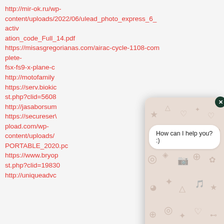http://mir-ok.ru/wp-content/uploads/2022/06/ulead_photo_express_6_activation_code_Full_14.pdf
https://misasgregorianas.com/airac-cycle-1108-complete-fsx-fs9-x-plane-c
http://motofamily
https://serv.biokic st.php?clid=5608
http://jasaborsum
https://secureservpload.com/wp-content/uploads/PORTABLE_2020.pc
https://www.bryop st.php?clid=19830
http://uniqueadvc
[Figure (screenshot): WhatsApp-style chat widget popup overlaid on the URL list. Shows a patterned beige/tan background with doodle icons (stars, hearts, camera, planet, etc.), a close (X) button in dark green circle at top right, a white speech bubble saying 'How can I help you? :)', a white rounded input bar at bottom, and a green circular send button with arrow icon.]